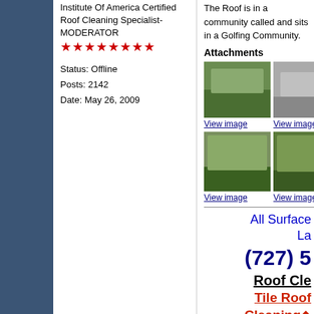Institute Of America Certified Roof Cleaning Specialist-MODERATOR
★★★★★★★★
Status: Offline
Posts: 2142
Date: May 26, 2009
The Roof is in a community called and sits in a Golfing Community.
Attachments
[Figure (photo): Row of house photos - thumbnails]
View image   View image   View im
[Figure (photo): Row of house photos - second row thumbnails]
View image   View image   View im
All Surface
La
(727) 5
Roof Cle
Tile Roof Cleaning◆